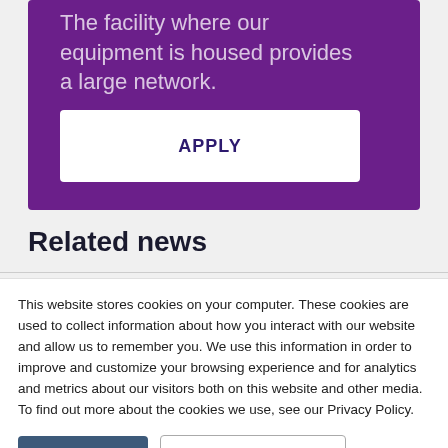The facility where our equipment is housed provides a large network.
APPLY
Related news
This website stores cookies on your computer. These cookies are used to collect information about how you interact with our website and allow us to remember you. We use this information in order to improve and customize your browsing experience and for analytics and metrics about our visitors both on this website and other media. To find out more about the cookies we use, see our Privacy Policy.
Accept
Don't ask me again